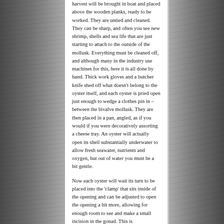harvest will be brought in boat and placed above the wooden planks, ready to be worked. They are untied and cleaned. They can be sharp, and often you see new shrimp, shells and sea life that are just starting to attach to the outside of the mollusk. Everything must be cleaned off, and although many in the industry use machines for this, here it is all done by hand. Thick work gloves and a butcher knife shed off what doesn't belong to the oyster itself, and each oyster is pried open just enough to wedge a clothes pin in –between the bivalve mollusk. They are then placed in a pan, angled, as if you would if you were decoratively assorting a cheese tray. An oyster will actually open its shell substantially underwater to allow fresh seawater, nutrients and oxygen, but out of water you must be a bit gentle.
Now each oyster will wait its turn to be placed into the 'clamp' that sits inside of the opening and can be adjusted to open the opening a bit more, allowing for enough room to see and make a small incision in the gonad. This is